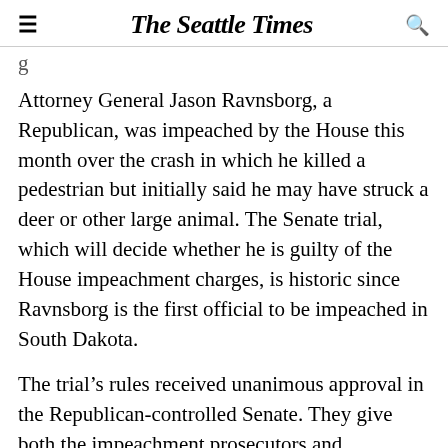The Seattle Times
Attorney General Jason Ravnsborg, a Republican, was impeached by the House this month over the crash in which he killed a pedestrian but initially said he may have struck a deer or other large animal. The Senate trial, which will decide whether he is guilty of the House impeachment charges, is historic since Ravnsborg is the first official to be impeached in South Dakota.
The trial's rules received unanimous approval in the Republican-controlled Senate. They give both the impeachment prosecutors and Ravnsborg's defense attorney one hour for an opening statement, four hours to present evidence and one hour to close their arguments. Senators may take additional time